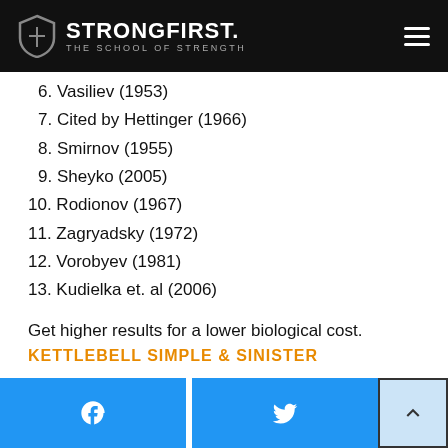StrongFirst. The School of Strength
6. Vasiliev (1953)
7. Cited by Hettinger (1966)
8. Smirnov (1955)
9. Sheyko (2005)
10. Rodionov (1967)
11. Zagryadsky (1972)
12. Vorobyev (1981)
13. Kudielka et. al (2006)
Get higher results for a lower biological cost.
KETTLEBELL SIMPLE & SINISTER
Facebook share | Twitter share | Back to top